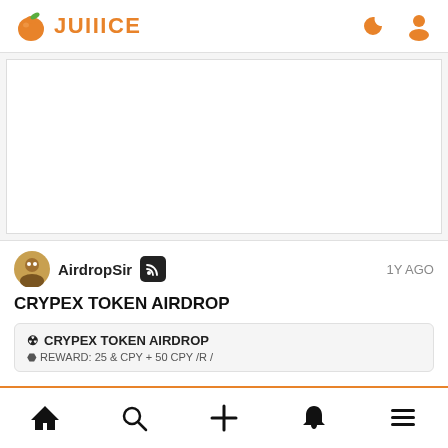JUIIICE
[Figure (screenshot): White empty content area / advertisement space]
AirdropSir  1Y AGO
CRYPEX TOKEN AIRDROP
☢ CRYPEX TOKEN AIRDROP
⬣ REWARD: 25 & CPY + 50 CPY /R /
Home | Search | Add | Bell | Menu